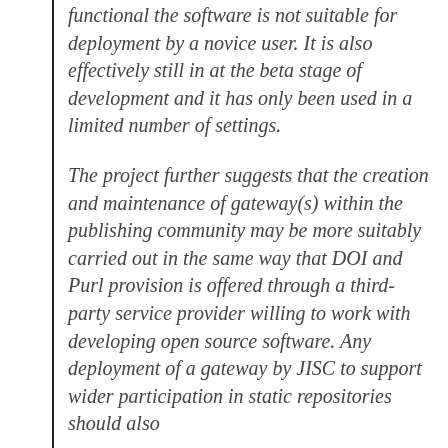functional the software is not suitable for deployment by a novice user. It is also effectively still in at the beta stage of development and it has only been used in a limited number of settings.
The project further suggests that the creation and maintenance of gateway(s) within the publishing community may be more suitably carried out in the same way that DOI and Purl provision is offered through a third-party service provider willing to work with developing open source software. Any deployment of a gateway by JISC to support wider participation in static repositories should also